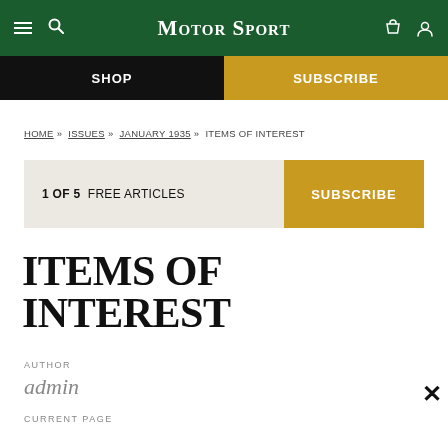MotorSport
SHOP | SUBSCRIBE
HOME » ISSUES » JANUARY 1935 » ITEMS OF INTEREST
1 OF 5 FREE ARTICLES | SUBSCRIBE
ITEMS OF INTEREST
AUTHOR
admin
CURRENT PAGE